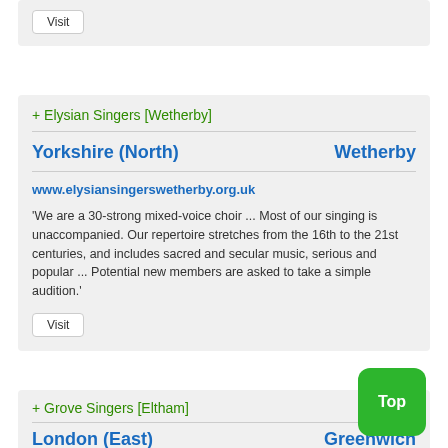Visit
+ Elysian Singers [Wetherby]
Yorkshire (North)    Wetherby
www.elysiansingerswetherby.org.uk
'We are a 30-strong mixed-voice choir ... Most of our singing is unaccompanied. Our repertoire stretches from the 16th to the 21st centuries, and includes sacred and secular music, serious and popular ... Potential new members are asked to take a simple audition.'
Visit
+ Grove Singers [Eltham]
London (East)    Greenwich
Top